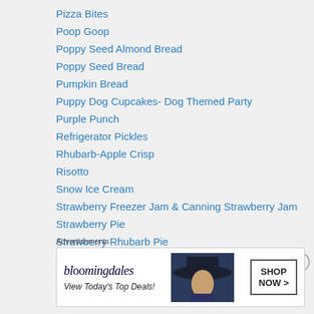Pizza Bites
Poop Goop
Poppy Seed Almond Bread
Poppy Seed Bread
Pumpkin Bread
Puppy Dog Cupcakes- Dog Themed Party
Purple Punch
Refrigerator Pickles
Rhubarb-Apple Crisp
Risotto
Snow Ice Cream
Strawberry Freezer Jam & Canning Strawberry Jam
Strawberry Pie
Strawberry Rhubarb Pie
Tilapia with Lemon Butter Sauce
Turtle Cupcakes
Advertisements
[Figure (other): Bloomingdale's advertisement banner with text 'View Today's Top Deals!' and 'SHOP NOW >' button, featuring a woman wearing a large hat]